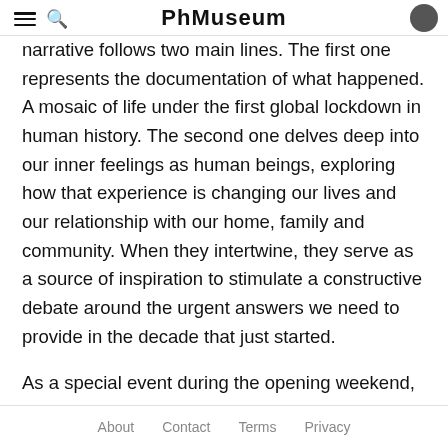PhMuseum
narrative follows two main lines. The first one represents the documentation of what happened. A mosaic of life under the first global lockdown in human history. The second one delves deep into our inner feelings as human beings, exploring how that experience is changing our lives and our relationship with our home, family and community. When they intertwine, they serve as a source of inspiration to stimulate a constructive debate around the urgent answers we need to provide in the decade that just started.
As a special event during the opening weekend, we host the presentation of INSIDE, the second photobook published by PhMuseum that accompanies the exhibition and the whole project that started with the PhMuseum
About   Contact   Terms   Privacy